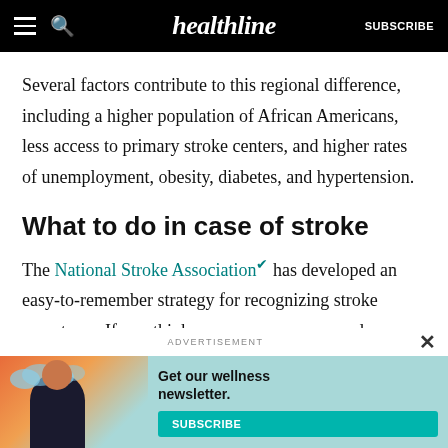healthline — SUBSCRIBE
Several factors contribute to this regional difference, including a higher population of African Americans, less access to primary stroke centers, and higher rates of unemployment, obesity, diabetes, and hypertension.
What to do in case of stroke
The National Stroke Association has developed an easy-to-remember strategy for recognizing stroke symptoms. If you think you or someone around you may be having a stroke, you should act FAST.
[Figure (illustration): Advertisement banner: wellness newsletter subscription with illustrated woman and teal subscribe button. Text: Get our wellness newsletter. Button: SUBSCRIBE]